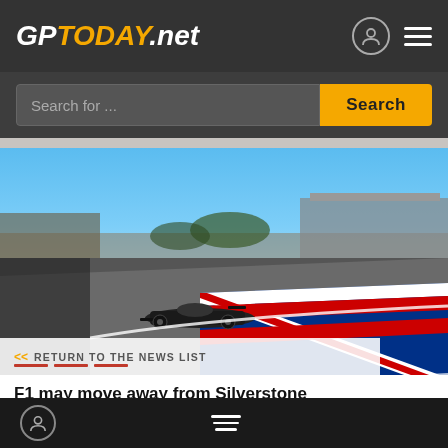GPTODAY.net
Search for ...
Search
[Figure (photo): Formula 1 car on Silverstone circuit track with Union Jack painted on the tarmac, grandstands visible in the background under a clear blue sky.]
<< RETURN TO THE NEWS LIST
F1 may move away from Silverstone